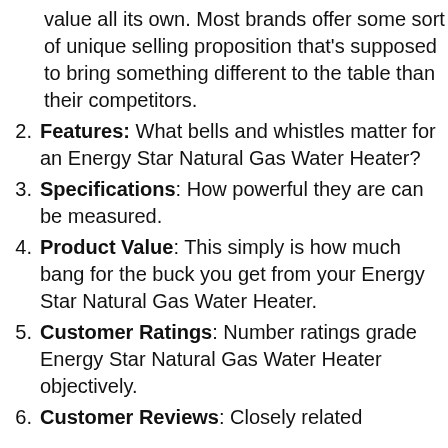(continuation) value all its own. Most brands offer some sort of unique selling proposition that’s supposed to bring something different to the table than their competitors.
2. Features: What bells and whistles matter for an Energy Star Natural Gas Water Heater?
3. Specifications: How powerful they are can be measured.
4. Product Value: This simply is how much bang for the buck you get from your Energy Star Natural Gas Water Heater.
5. Customer Ratings: Number ratings grade Energy Star Natural Gas Water Heater objectively.
6. Customer Reviews: Closely related